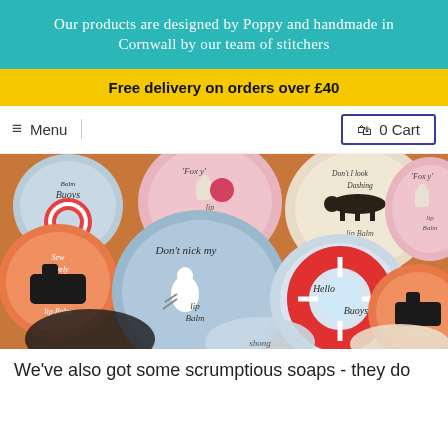Our products are designed by Poppy and handmade in Cornwall by our team of stitchers
Free delivery on orders over £40
≡ Menu
🛍 0 Cart
[Figure (photo): Collection of circular lip balm tins with illustrated labels including a seagull ('Don't nick my lip balm'), dogs ('Foxy' and 'Don't I look Dashing'), sewing machines ('Sew lovely lip balm'), and life preserver rings ('Hello Buoys' and 'Balm Buoys').]
We've also got some scrumptious soaps - they do